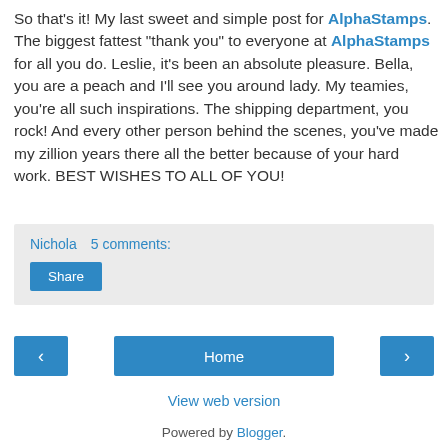So that's it! My last sweet and simple post for AlphaStamps. The biggest fattest "thank you" to everyone at AlphaStamps for all you do. Leslie, it's been an absolute pleasure. Bella, you are a peach and I'll see you around lady. My teamies, you're all such inspirations. The shipping department, you rock! And every other person behind the scenes, you've made my zillion years there all the better because of your hard work. BEST WISHES TO ALL OF YOU!
Nichola   5 comments:
Share
< Home >
View web version
Powered by Blogger.